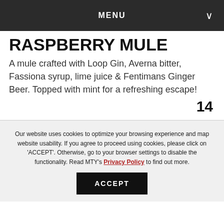MENU
RASPBERRY MULE
A mule crafted with Loop Gin, Averna bitter, Fassiona syrup, lime juice & Fentimans Ginger Beer. Topped with mint for a refreshing escape!
14
Our website uses cookies to optimize your browsing experience and map website usability. If you agree to proceed using cookies, please click on 'ACCEPT'. Otherwise, go to your browser settings to disable the functionality. Read MTY's Privacy Policy to find out more.
ACCEPT